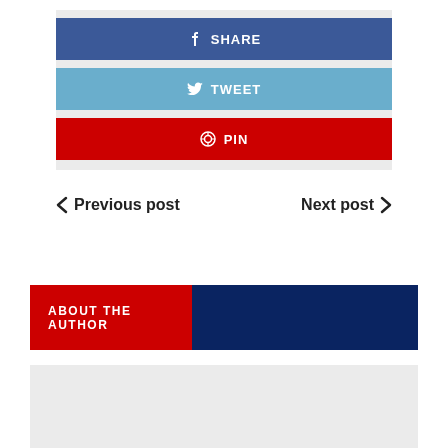[Figure (infographic): Social share buttons: Facebook SHARE (dark blue), Twitter TWEET (light blue), Pinterest PIN (red)]
< Previous post   Next post >
ABOUT THE AUTHOR